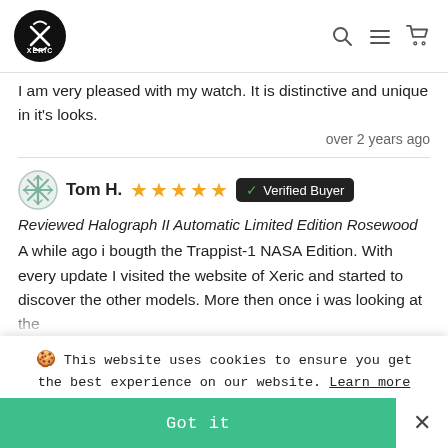XERIC [logo] [search] [menu] [cart]
I am very pleased with my watch. It is distinctive and unique in it's looks.
over 2 years ago
Tom H. ★★★★★ ✓ Verified Buyer
Reviewed Halograph II Automatic Limited Edition Rosewood
A while ago i bougth the Trappist-1 NASA Edition. With every update I visited the website of Xeric and started to discover the other models. More then once i was looking at the
🍪 This website uses cookies to ensure you get the best experience on our website. Learn more
Got it